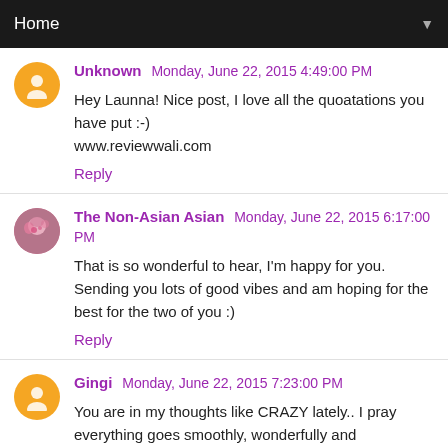Home ▼
Unknown  Monday, June 22, 2015 4:49:00 PM
Hey Launna! Nice post, I love all the quoatations you have put :-)
www.reviewwali.com
Reply
The Non-Asian Asian  Monday, June 22, 2015 6:17:00 PM
That is so wonderful to hear, I'm happy for you.
Sending you lots of good vibes and am hoping for the best for the two of you :)
Reply
Gingi  Monday, June 22, 2015 7:23:00 PM
You are in my thoughts like CRAZY lately.. I pray everything goes smoothly, wonderfully and MAGICALLY in your life my dear, you are lovely and worthy, and you deserve someone